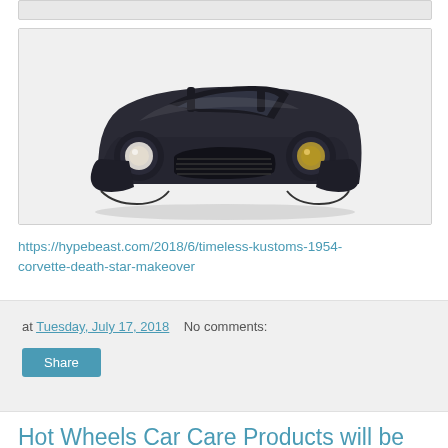[Figure (photo): Partial top strip of a previous image (cropped at top of page)]
[Figure (photo): Front view of a dark navy/black classic 1954 Corvette with custom makeover, photographed against a light gray background. The car shows a wide front grille, round headlights, and an open-top roadster silhouette.]
https://hypebeast.com/2018/6/timeless-kustoms-1954-corvette-death-star-makeover
at Tuesday, July 17, 2018   No comments:
Share
Hot Wheels Car Care Products will be the presenting sponsor of the PPG